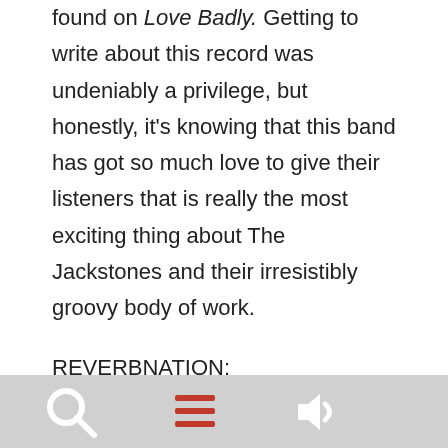found on Love Badly. Getting to write about this record was undeniably a privilege, but honestly, it's knowing that this band has got so much love to give their listeners that is really the most exciting thing about The Jackstones and their irresistibly groovy body of work.
REVERBNATION:
https://www.reverbnation.com/thejackstones
Sebastian Cole
[Figure (other): Bottom navigation bar with three icons: search (magnifying glass), menu (hamburger/three lines), and sound (speaker) on a grey background]